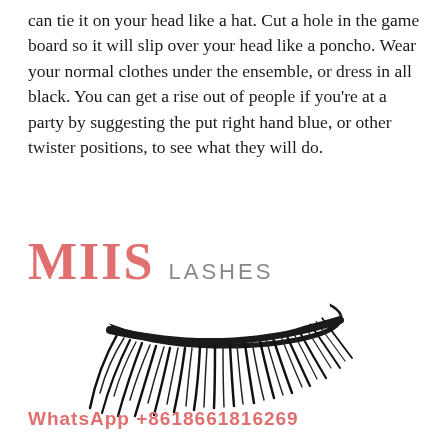can tie it on your head like a hat. Cut a hole in the game board so it will slip over your head like a poncho. Wear your normal clothes under the ensemble, or dress in all black. You can get a rise out of people if you're at a party by suggesting the put right hand blue, or other twister positions, to see what they will do.
[Figure (logo): MIIS LASHES brand logo with salmon/coral colored bold text 'MIIS' and grey text 'LASHES']
[Figure (photo): A set of dramatic black false eyelashes, fluffy and full, shown against white background]
WhatsApp +8618661816269